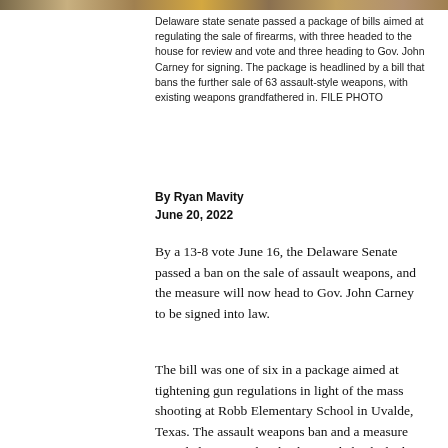[Figure (photo): Decorative banner/photo strip at top of page showing exterior of what appears to be a legislative building]
Delaware state senate passed a package of bills aimed at regulating the sale of firearms, with three headed to the house for review and vote and three heading to Gov. John Carney for signing. The package is headlined by a bill that bans the further sale of 63 assault-style weapons, with existing weapons grandfathered in. FILE PHOTO
By Ryan Mavity
June 20, 2022
By a 13-8 vote June 16, the Delaware Senate passed a ban on the sale of assault weapons, and the measure will now head to Gov. John Carney to be signed into law.
The bill was one of six in a package aimed at tightening gun regulations in light of the mass shooting at Robb Elementary School in Uvalde, Texas. The assault weapons ban and a measure intended to strengthen background checks had previously passed the House. Both the House and Senate passed a bill June 16 to prohibit the manufacture, sale, offer for sale, purchase, receipt, transfer or possession of an ammunition-feeding device with a capacity to accept more than 17 rounds